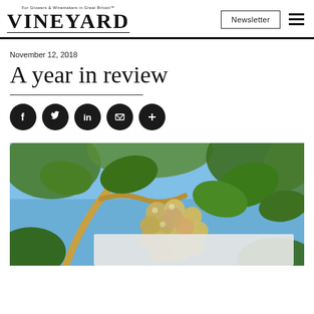VINEYARD — For Growers & Winemakers in Great Britain
Newsletter
November 12, 2018
A year in review
[Figure (photo): Close-up photograph of green/golden grapes on the vine with large leaves and blue sky in background]